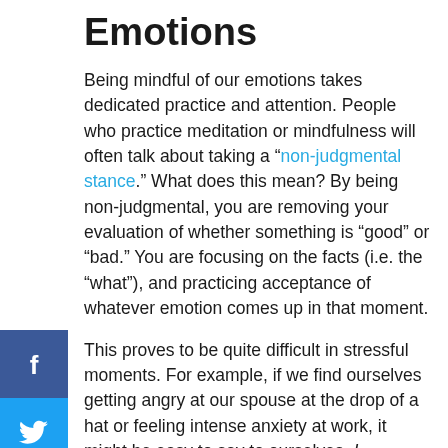Emotions
Being mindful of our emotions takes dedicated practice and attention. People who practice meditation or mindfulness will often talk about taking a “non-judgmental stance.” What does this mean? By being non-judgmental, you are removing your evaluation of whether something is “good” or “bad.” You are focusing on the facts (i.e. the “what”), and practicing acceptance of whatever emotion comes up in that moment.
This proves to be quite difficult in stressful moments. For example, if we find ourselves getting angry at our spouse at the drop of a hat or feeling intense anxiety at work, it might be easy to say to ourselves, I shouldn’t
[Figure (other): Social sharing sidebar with Facebook (f), Twitter (bird), Reddit (alien), and email (envelope) icons]